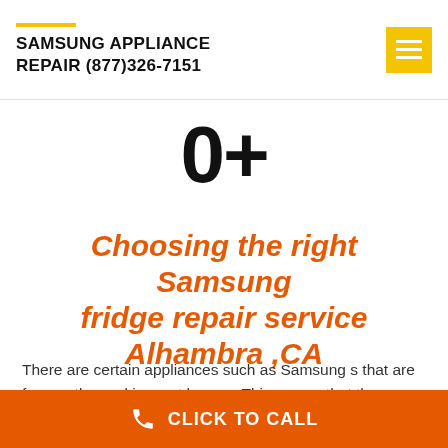SAMSUNG APPLIANCE REPAIR (877)326-7151
0+
Choosing the right Samsung fridge repair service Alhambra ,CA
There are certain appliances such as Samsung s that are frequently used in most homes. This means that they can either malfunction or break down when they are needed the
CLICK TO CALL